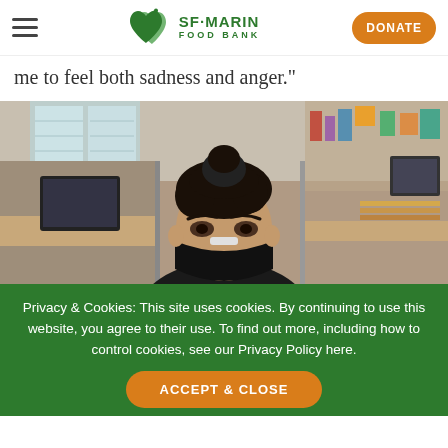SF·MARIN FOOD BANK | DONATE
me to feel both sadness and anger."
[Figure (photo): A person wearing a black face mask sitting in an office with cubicles, computers, and shelving visible in the background.]
Privacy & Cookies: This site uses cookies. By continuing to use this website, you agree to their use. To find out more, including how to control cookies, see our Privacy Policy here.
ACCEPT & CLOSE